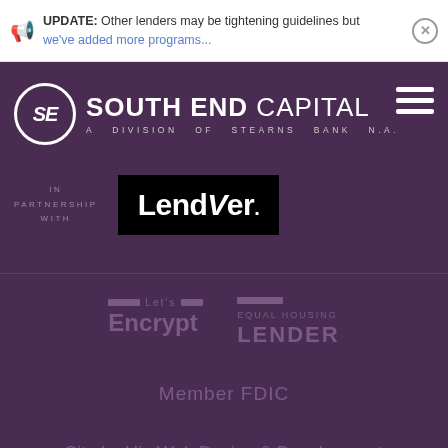UPDATE: Other lenders may be tightening guidelines but we've added more programs...
[Figure (logo): South End Capital logo - SE in circle, text SOUTH END CAPITAL, A DIVISION OF STEARNS BANK N.A.]
IN PARTNERSHIP WITH
[Figure (logo): LendVer logo - white bold text on black background]
[Figure (logo): Let's Encrypt logo]
[Figure (logo): Equal Housing Lender logo]
Member FDIC
Site by Hip Web Design & Development